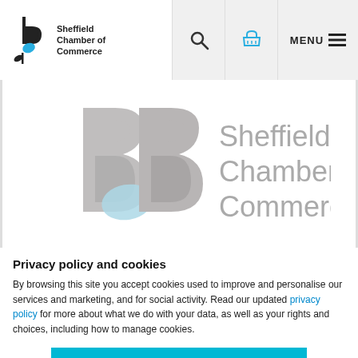[Figure (logo): Sheffield Chamber of Commerce logo with stylized B and leaf icon]
[Figure (screenshot): Navigation bar with search icon, shopping basket icon, and MENU button]
[Figure (logo): Large Sheffield Chamber of Commerce watermark logo in grey and light blue]
Privacy policy and cookies
By browsing this site you accept cookies used to improve and personalise our services and marketing, and for social activity. Read our updated privacy policy for more about what we do with your data, as well as your rights and choices, including how to manage cookies.
ACCEPT & CLOSE